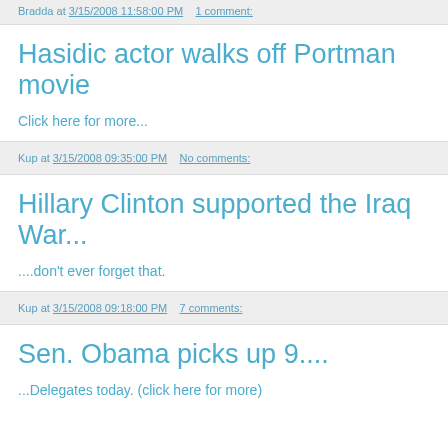Bradda at 3/15/2008 11:58:00 PM   1 comment:
Hasidic actor walks off Portman movie
Click here for more...
Kup at 3/15/2008 09:35:00 PM   No comments:
Hillary Clinton supported the Iraq War...
....don't ever forget that.
Kup at 3/15/2008 09:18:00 PM   7 comments:
Sen. Obama picks up 9....
...Delegates today. (click here for more)